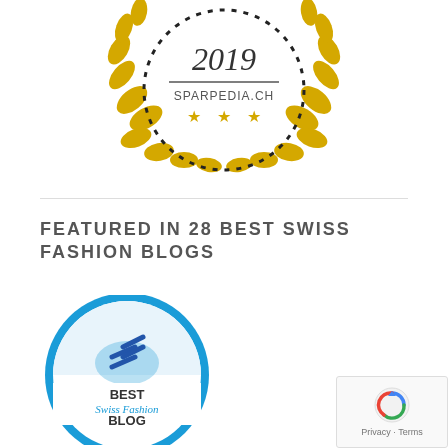[Figure (logo): Gold laurel wreath badge with text '2019' and 'SPARPEDIA.CH' and three gold stars, partially cropped at top]
[Figure (logo): Blue circular badge from EXPERTIDO.ORG reading 'BEST Swiss Fashion BLOG' with checkmark graphic]
FEATURED IN 28 BEST SWISS FASHION BLOGS
[Figure (logo): Google reCAPTCHA widget showing the reCAPTCHA logo with 'Privacy - Terms' text]